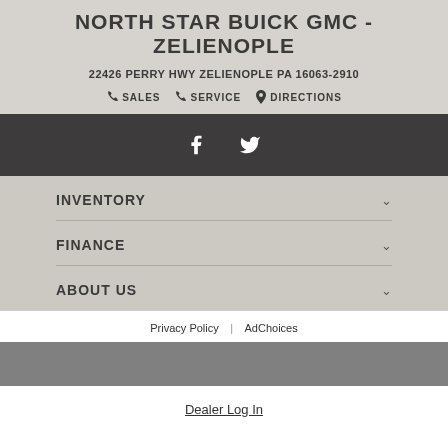NORTH STAR BUICK GMC - ZELIENOPLE
22426 PERRY HWY ZELIENOPLE PA 16063-2910
✆ SALES  ✆ SERVICE  📍 DIRECTIONS
[Figure (other): Dark social media bar with Facebook and Twitter icons]
INVENTORY
FINANCE
ABOUT US
Privacy Policy | AdChoices
Dealer Log In